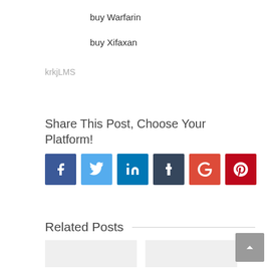buy Warfarin
buy Xifaxan
krkjLMS
Share This Post, Choose Your Platform!
[Figure (other): Social share buttons: Facebook, Twitter, LinkedIn, Tumblr, Google+, Pinterest]
Related Posts
[Figure (other): Two related post thumbnail images]